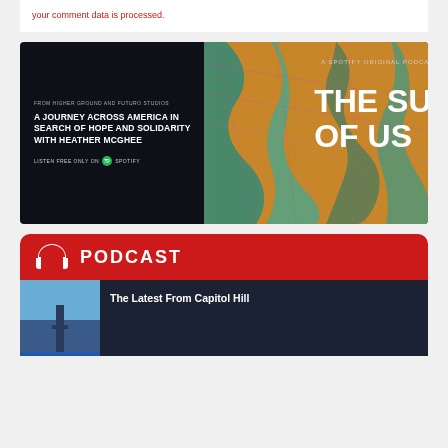your comment data is processed.
[Figure (illustration): Spotify Original Podcast advertisement for 'The Sum of Us' - a dark background with map artwork on the right. Left side reads: FROM HIGHER GROUND AND FUTURO STUDIOS / A JOURNEY ACROSS AMERICA IN SEARCH OF HOPE AND SOLIDARITY WITH HEATHER MCGHEE / LISTEN FREE ONLY ON Spotify. Right side shows large white bold text: THE SUM OF US over a colorful map illustration. Top right reads: A SPOTIFY ORIGINAL PODCAST.]
PODCAST
The Latest From Capitol Hill